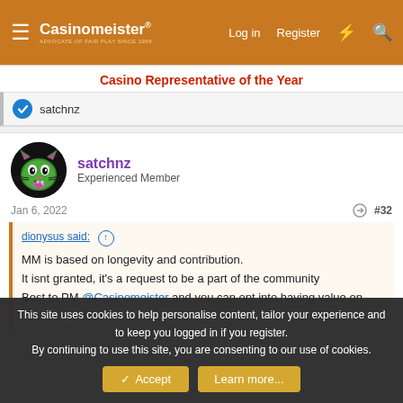Casinomeister — Log in | Register
Casino Representative of the Year
satchnz
satchnz
Experienced Member
Jan 6, 2022  #32
dionysus said: ↑
MM is based on longevity and contribution.
It isnt granted, it's a request to be a part of the community
Best to PM @Casinomeister and you can opt into having value on your voice.
This site uses cookies to help personalise content, tailor your experience and to keep you logged in if you register.
By continuing to use this site, you are consenting to our use of cookies.
Accept   Learn more...